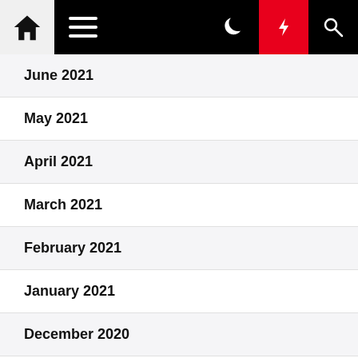[Figure (screenshot): Website navigation bar with home icon, hamburger menu, moon/dark-mode icon, lightning bolt icon on red background, and search icon]
June 2021
May 2021
April 2021
March 2021
February 2021
January 2021
December 2020
November 2020
October 2020
September 2020